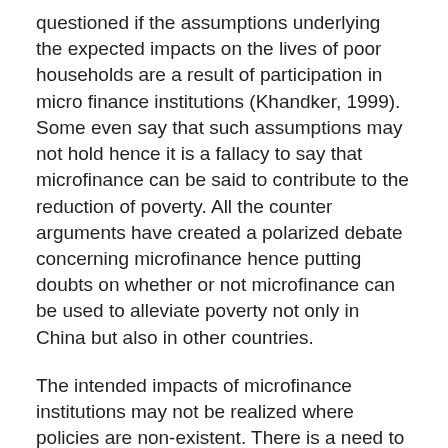questioned if the assumptions underlying the expected impacts on the lives of poor households are a result of participation in micro finance institutions (Khandker, 1999). Some even say that such assumptions may not hold hence it is a fallacy to say that microfinance can be said to contribute to the reduction of poverty. All the counter arguments have created a polarized debate concerning microfinance hence putting doubts on whether or not microfinance can be used to alleviate poverty not only in China but also in other countries.
The intended impacts of microfinance institutions may not be realized where policies are non-existent. There is a need to come up with policies that will govern microcredits so that they may achieve the targeted objectives. Microfinance institution should also look at other possible ways of reducing poverty other than giving microcredits. It has been realized that the outcomes of microfinance institutions are shaped by